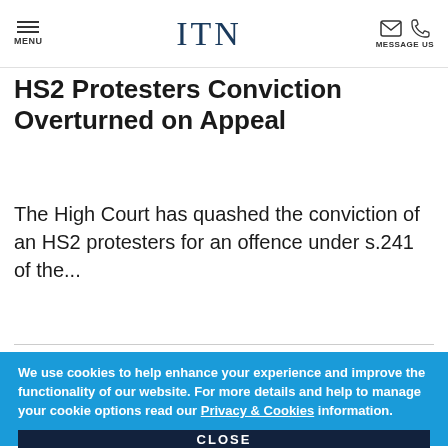MENU | ITN | MESSAGE US
HS2 Protesters Conviction Overturned on Appeal
The High Court has quashed the conviction of an HS2 protesters for an offence under s.241 of the...
We use cookies to help enhance your experience and improve the functionality of our website. For more details and help to manage your cookie options read our Privacy & Cookies information.
CLOSE